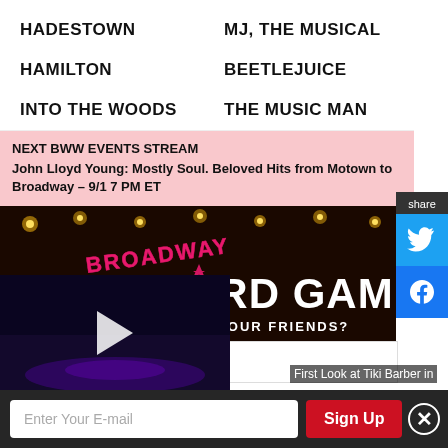HADESTOWN
MJ, THE MUSICAL
HAMILTON
BEETLEJUICE
INTO THE WOODS
THE MUSIC MAN
NEXT BWW EVENTS STREAM
John Lloyd Young: Mostly Soul. Beloved Hits from Motown to Broadway – 9/1 7 PM ET
[Figure (screenshot): Broadway Daily Word Game banner: dark background with stage lights, text BROADWAY DAILY WORD GAME and CAN YOU BEAT YOUR FRIENDS?]
First Look at Tiki Barber in
Enter Your E-mail
Sign Up